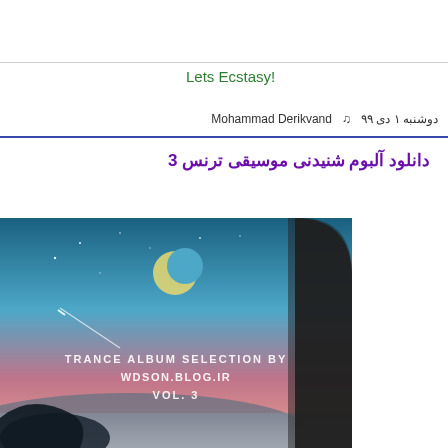Lets Ecstasy!
Mohammad Derikvand  ♫  دوشنبه ۱ دی ۹۹
دانلود آلبوم شنیدنی موسیقی ترنس 3
[Figure (illustration): Album cover art showing a nighttime scene viewed through a curved window/arch. A crescent moon and stars are visible in a gradient blue-pink sky. Text on the image reads: TRANCE ALBUM SELECTION BY WDSON.BLOG.IR VOL. 3]